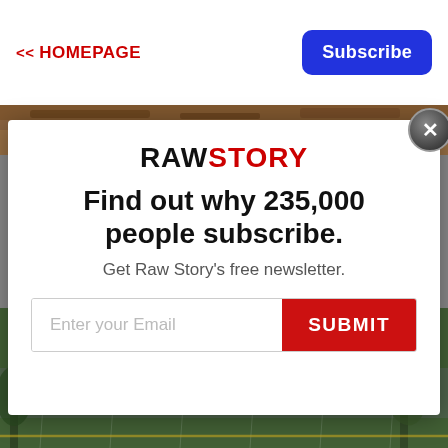<< HOMEPAGE
Subscribe
[Figure (photo): Background photo showing storm damage debris at top and a street scene with cars in heavy wind/rain at bottom]
RAWSTORY
Find out why 235,000 people subscribe.
Get Raw Story's free newsletter.
Enter your Email  SUBMIT